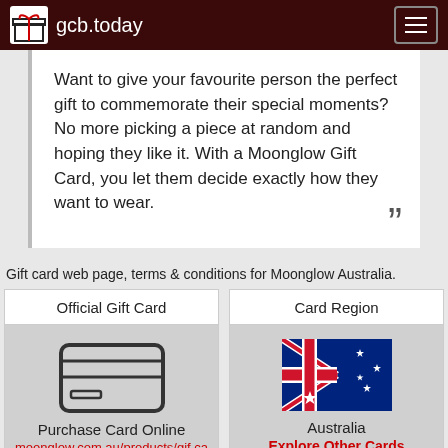gcb.today
Want to give your favourite person the perfect gift to commemorate their special moments? No more picking a piece at random and hoping they like it. With a Moonglow Gift Card, you let them decide exactly how they want to wear.
Gift card web page, terms & conditions for Moonglow Australia.
| Official Gift Card | Card Region |
| --- | --- |
| Purchase Card Online
moonglow.com.au/products/gif card-1 | Australia
Explore Other Cards |